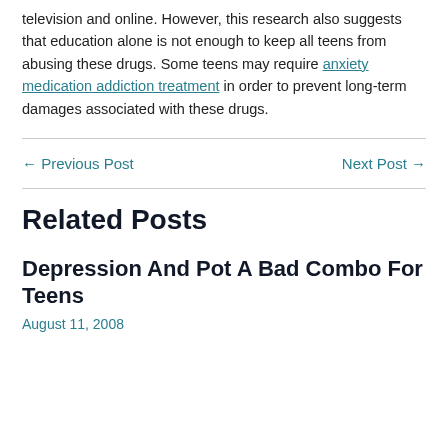television and online. However, this research also suggests that education alone is not enough to keep all teens from abusing these drugs. Some teens may require anxiety medication addiction treatment in order to prevent long-term damages associated with these drugs.
← Previous Post    Next Post →
Related Posts
Depression And Pot A Bad Combo For Teens
August 11, 2008